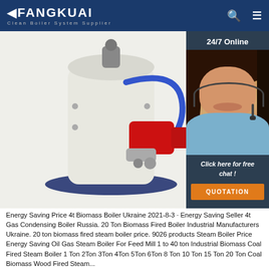FANGKUAI - Clean Boiler System Supplier
[Figure (photo): Industrial boiler unit shown from side with blue base and red valves/fittings, white cylindrical body with piping. Overlaid with a customer service agent photo on the right (24/7 Online support), a 'Click here for free chat!' prompt, and a QUOTATION orange button.]
Energy Saving Price 4t Biomass Boiler Ukraine 2021-8-3 · Energy Saving Seller 4t Gas Condensing Boiler Russia. 20 Ton Biomass Fired Boiler Industrial Manufacturers Ukraine. 20 ton biomass fired steam boiler price. 9026 products Steam Boiler Price Energy Saving Oil Gas Steam Boiler For Feed Mill 1 to 40 ton Industrial Biomass Coal Fired Steam Boiler 1 Ton 2Ton 3Ton 4Ton 5Ton 6Ton 8 Ton 10 Ton 15 Ton 20 Ton Coal Biomass Wood Fired Steam...